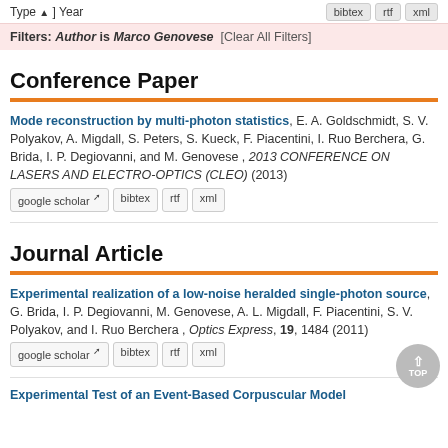Type ▲ ] Year   bibtex   rtf   xml
Filters: Author is Marco Genovese [Clear All Filters]
Conference Paper
Mode reconstruction by multi-photon statistics, E. A. Goldschmidt, S. V. Polyakov, A. Migdall, S. Peters, S. Kueck, F. Piacentini, I. Ruo Berchera, G. Brida, I. P. Degiovanni, and M. Genovese , 2013 CONFERENCE ON LASERS AND ELECTRO-OPTICS (CLEO) (2013) google scholar bibtex rtf xml
Journal Article
Experimental realization of a low-noise heralded single-photon source, G. Brida, I. P. Degiovanni, M. Genovese, A. L. Migdall, F. Piacentini, S. V. Polyakov, and I. Ruo Berchera , Optics Express, 19, 1484 (2011) google scholar bibtex rtf xml
Experimental Test of an Event-Based Corpuscular Model